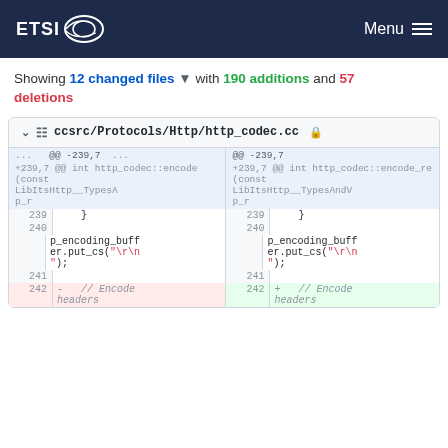ETSI  Menu
Showing 12 changed files with 190 additions and 57
deletions
[Figure (screenshot): Git diff view showing file ccsrc/Protocols/Http/http_codec.cc with side-by-side diff. Lines 239-242 shown. Line 242 shows removal of '// Encode headers' comment on left and addition on right.]